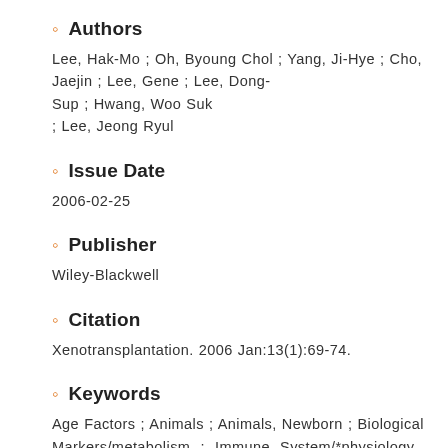Authors
Lee, Hak-Mo ; Oh, Byoung Chol ; Yang, Ji-Hye ; Cho, Jaejin ; Lee, Gene ; Lee, Dong-Sup ; Hwang, Woo Suk ; Lee, Jeong Ryul
Issue Date
2006-02-25
Publisher
Wiley-Blackwell
Citation
Xenotransplantation. 2006 Jan:13(1):69-74.
Keywords
Age Factors ; Animals ; Animals, Newborn ; Biological Markers/metabolism ; Immune System/*physiology ; Male ; RNA, Messenger/metabolism ; Sertoli